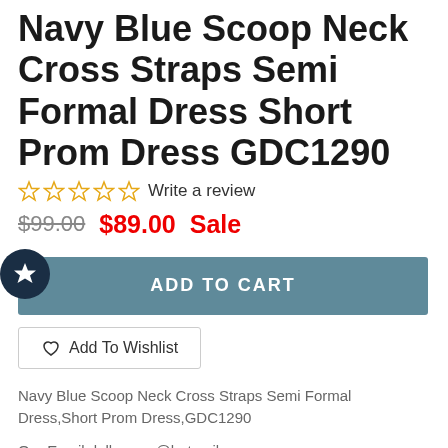Navy Blue Scoop Neck Cross Straps Semi Formal Dress Short Prom Dress GDC1290
☆☆☆☆☆ Write a review
$99.00  $89.00 Sale
ADD TO CART
Add To Wishlist
Navy Blue Scoop Neck Cross Straps Semi Formal Dress,Short Prom Dress,GDC1290
Our Email:dollygown@hotmail.com
The Short prom Dress are fully lined, 4 bones in the